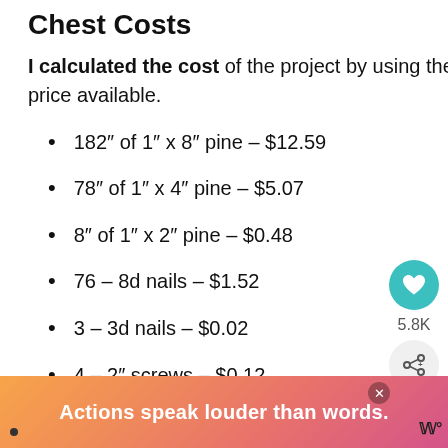Chest Costs
I calculated the cost of the project by using the Home Depot online prices. I used the best price available.
182″ of 1″ x 8″ pine – $12.59
78″ of 1″ x 4″ pine – $5.07
8″ of 1″ x 2″ pine – $0.48
76 – 8d nails – $1.52
3 – 3d nails – $0.02
4 – 2″ screws – $0.12